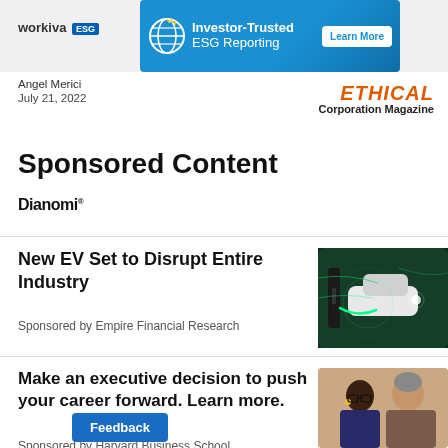Workiva ESG | Investor-Trusted ESG Reporting — Learn More (advertisement banner)
Angel Merici
July 21, 2022
[Figure (logo): Ethical Corporation Magazine logo in orange italic text]
Sponsored Content
[Figure (logo): Dianomi logo in bold black text]
New EV Set to Disrupt Entire Industry
Sponsored by Empire Financial Research
[Figure (photo): EV charging station with glowing green light effects]
Make an executive decision to push your career forward. Learn more.
Sponsored by Harvard Business School
[Figure (photo): Two professionals in a business discussion]
Feedback